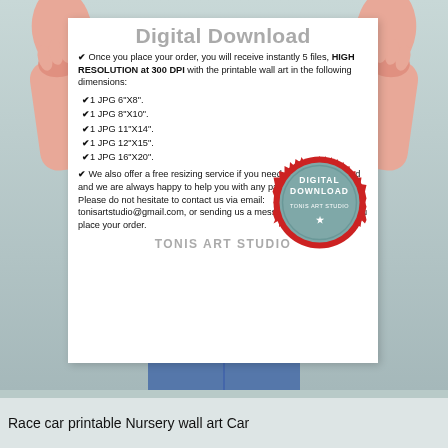[Figure (photo): Person holding a white paper/card with digital download information. Hands visible from top corners, body/jeans visible at bottom center. Background is light blue-grey.]
Digital Download
✔ Once you place your order, you will receive instantly 5 files, HIGH RESOLUTION at 300 DPI with the printable wall art in the following dimensions:
✔1 JPG 6"X8".
✔1 JPG 8"X10".
✔1 JPG 11"X14".
✔1 JPG 12"X15".
✔1 JPG 16"X20".
✔ We also offer a free resizing service if you need a size not included and we are always happy to help you with any part of the process. Please do not hesitate to contact us via email: tonisartstudio@gmail.com, or sending us a message via etsy, once you place your order.
[Figure (logo): Circular badge/seal with red serrated border, grey background, text: DIGITAL DOWNLOAD TONIS ART STUDIO]
TONIS ART STUDIO
Race car printable Nursery wall art Car